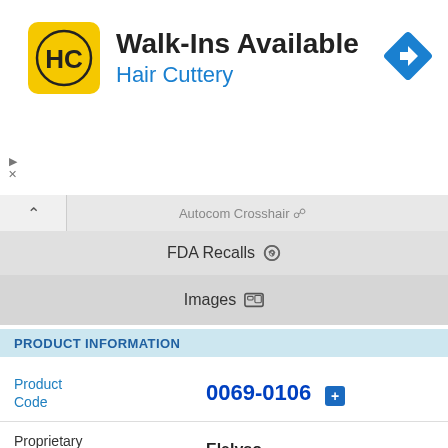[Figure (logo): Hair Cuttery advertisement banner: yellow square logo with HC letters, text 'Walk-Ins Available' and 'Hair Cuttery' in blue, navigation arrow icon on right]
FDA Recalls
Images
PRODUCT INFORMATION
| Field | Value |
| --- | --- |
| Product Code | 0069-0106 |
| Proprietary Name | Elelyso |
| Non-Proprietary Name | Taliglucerase Alfa |